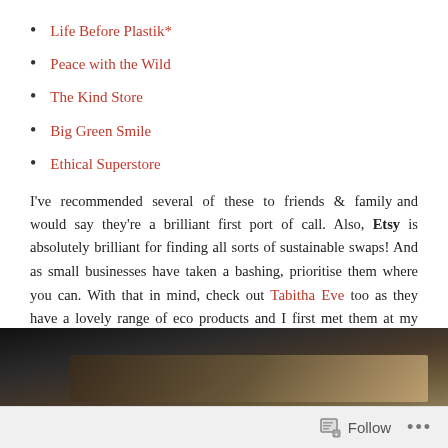Life Before Plastik*
Peace with the Wild
The Kind Store
Big Green Smile
Ethical Superstore
I've recommended several of these to friends & family and would say they're a brilliant first port of call. Also, Etsy is absolutely brilliant for finding all sorts of sustainable swaps! And as small businesses have taken a bashing, prioritise them where you can. With that in mind, check out Tabitha Eve too as they have a lovely range of eco products and I first met them at my local market!
[Figure (photo): Partial photo visible at bottom of page, dark tones with brown/tan elements]
Follow ...